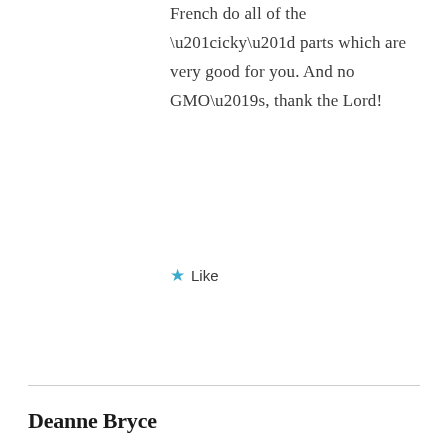French do all of the “icky” parts which are very good for you. And no GMO’s, thank the Lord!
★ Like
Deanne Bryce
September 27, 2012 at 12:01 pm
Excellent article and fascinating project you are doing with the school lunches. I keep hearing kids and parents complain about our new school lunch program that has been implemented in the US this school year.